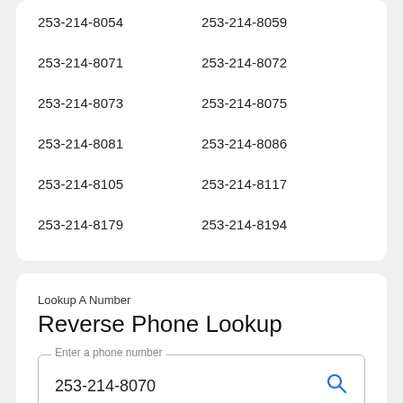253-214-8054
253-214-8059
253-214-8071
253-214-8072
253-214-8073
253-214-8075
253-214-8081
253-214-8086
253-214-8105
253-214-8117
253-214-8179
253-214-8194
Lookup A Number
Reverse Phone Lookup
253-214-8070
Get YouMail's Free Scam Protection
Protect yourself from scam calls.